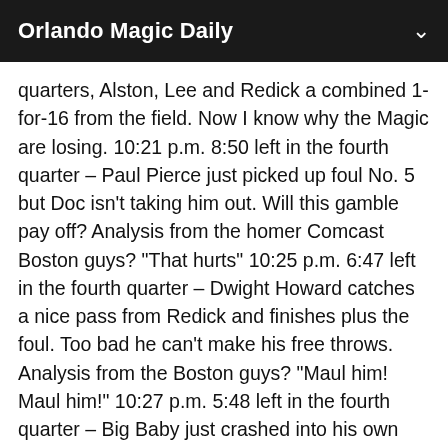Orlando Magic Daily
quarters, Alston, Lee and Redick a combined 1-for-16 from the field. Now I know why the Magic are losing. 10:21 p.m. 8:50 left in the fourth quarter – Paul Pierce just picked up foul No. 5 but Doc isn't taking him out. Will this gamble pay off? Analysis from the homer Comcast Boston guys? "That hurts" 10:25 p.m. 6:47 left in the fourth quarter – Dwight Howard catches a nice pass from Redick and finishes plus the foul. Too bad he can't make his free throws. Analysis from the Boston guys? "Maul him! Maul him!" 10:27 p.m. 5:48 left in the fourth quarter – Big Baby just crashed into his own bench, taking out assistant coach Tom Thibodeau in the process. He's a defensive guru so maybe the Magic can get going on the offensive and